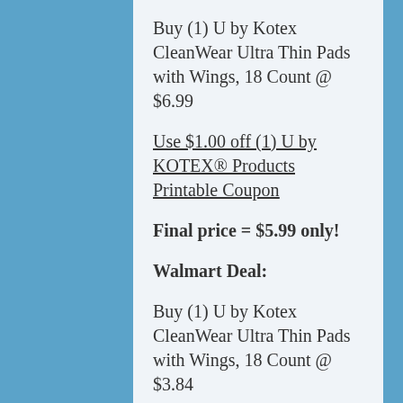Buy (1) U by Kotex CleanWear Ultra Thin Pads with Wings, 18 Count @ $6.99
Use $1.00 off (1) U by KOTEX® Products Printable Coupon
Final price = $5.99 only!
Walmart Deal:
Buy (1) U by Kotex CleanWear Ultra Thin Pads with Wings, 18 Count @ $3.84
Use $1.00 off (1) U by KOTEX®